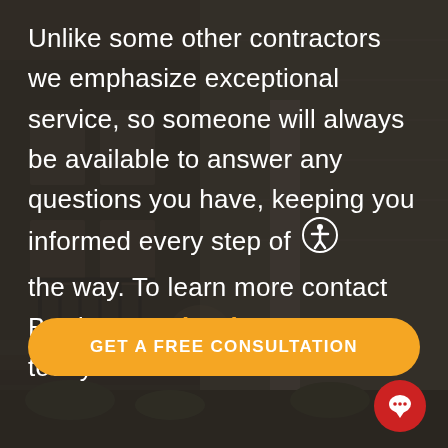[Figure (photo): Dark-toned background photo of a residential home exterior with stone facade, front porch, stairs with iron railing, and landscaping. Image is dimmed/overlaid.]
Unlike some other contractors we emphasize exceptional service, so someone will always be available to answer any questions you have, keeping you informed every step of the way. To learn more contact Bordner® at (816) 737-8409 today.
GET A FREE CONSULTATION